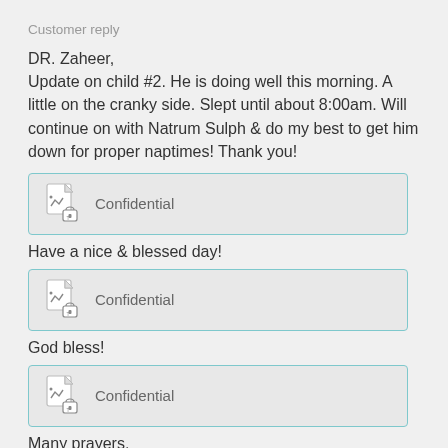Customer reply
DR. Zaheer,
Update on child #2. He is doing well this morning. A little on the cranky side. Slept until about 8:00am. Will continue on with Natrum Sulph & do my best to get him down for proper naptimes! Thank you!
[Figure (other): Confidential document icon with lock]
Have a nice & blessed day!
[Figure (other): Confidential document icon with lock]
God bless!
[Figure (other): Confidential document icon with lock]
Many prayers,